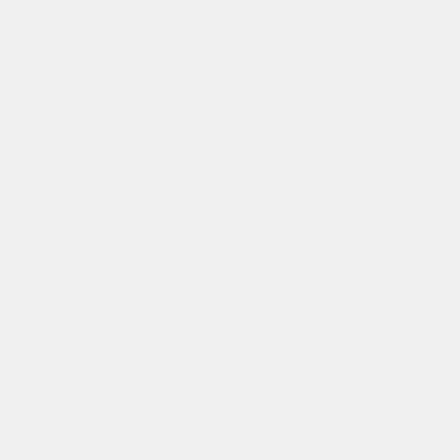1.3 Negotiated Rulemaking
1.4 Adjudication
1.5 Alternative Means of Dispute Resolution
1.6 Miscellaneous Provisions
2 Legislative History
3 Bibliography
3.1 Legislative History
3.2 Other Government Documents
3.3 Other Resources
3.3.1 Books
3.3.2 Periodicals